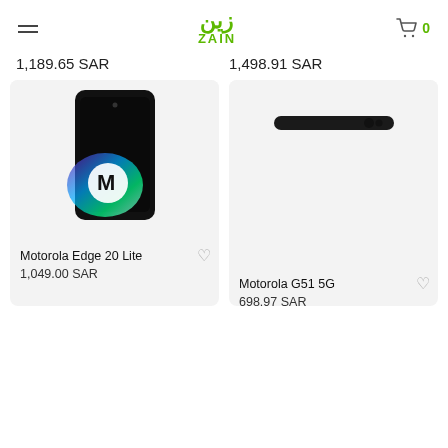Zain - navigation header with logo and cart
1,189.65 SAR
1,498.91 SAR
[Figure (photo): Motorola Edge 20 Lite smartphone, top view showing black screen with Motorola logo]
[Figure (photo): Motorola G51 5G smartphone, top edge view showing slim dark profile]
Motorola Edge 20 Lite
1,049.00 SAR
Motorola G51 5G
698.97 SAR